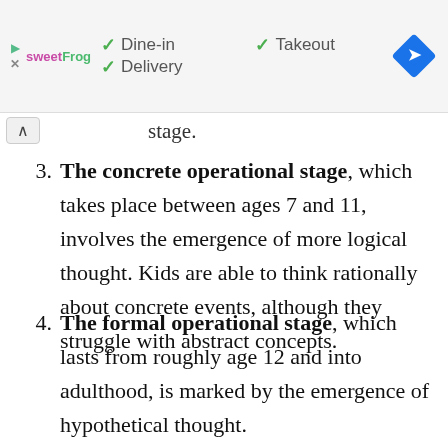[Figure (infographic): sweetFrog advertisement banner with green checkmarks for Dine-in, Takeout, and Delivery options, and a blue navigation/directions diamond icon]
stage.
3. The concrete operational stage, which takes place between ages 7 and 11, involves the emergence of more logical thought. Kids are able to think rationally about concrete events, although they struggle with abstract concepts.
4. The formal operational stage, which lasts from roughly age 12 and into adulthood, is marked by the emergence of hypothetical thought.